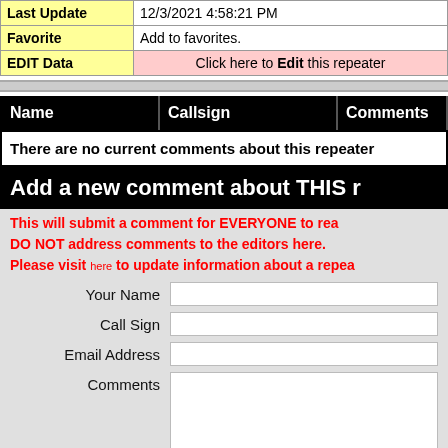| Field | Value |
| --- | --- |
| Last Update | 12/3/2021 4:58:21 PM |
| Favorite | Add to favorites. |
| EDIT Data | Click here to Edit this repeater |
| Name | Callsign | Comments |
| --- | --- | --- |
| There are no current comments about this repeater |  |  |
Add a new comment about THIS r
This will submit a comment for EVERYONE to read. DO NOT address comments to the editors here. Please visit here to update information about a repeater
Your Name
Call Sign
Email Address
Comments
Submit